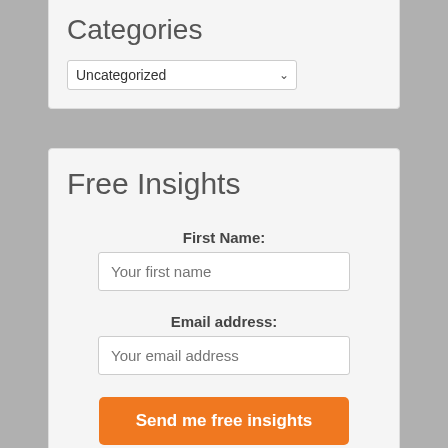Categories
Uncategorized
Free Insights
First Name:
Your first name
Email address:
Your email address
Send me free insights